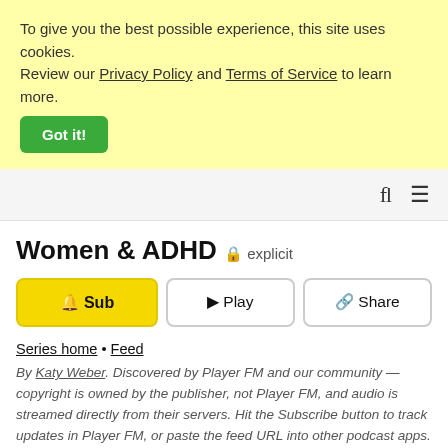To give you the best possible experience, this site uses cookies. Review our Privacy Policy and Terms of Service to learn more.
Got it!
Women & ADHD 🔒 explicit
🔔 Sub
▶ Play
🔗 Share
Series home • Feed
By Katy Weber. Discovered by Player FM and our community — copyright is owned by the publisher, not Player FM, and audio is streamed directly from their servers. Hit the Subscribe button to track updates in Player FM, or paste the feed URL into other podcast apps.